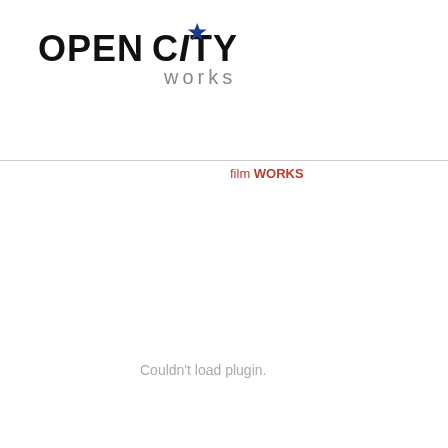[Figure (logo): Open City Works logo with dark blue star above the letter I in CITY, bold black text OPEN CITY, grey text 'works' below]
film WORKS
corporate WO...
Couldn't load plugin.
Las Aguilas Huma...
Produced, Written, E...
70 Minutes
Mexico, USA & Can...
Las Aguilas Humana... motion prevents the... in any community ac... casual contacts they...
Las Aguilas Humana... evolution of rights a... culture where mach... long can the women...
www.opencityworks...